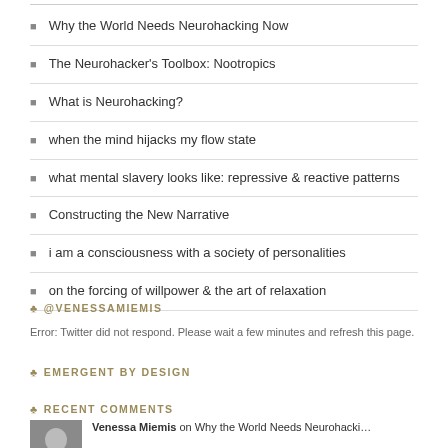Why the World Needs Neurohacking Now
The Neurohacker's Toolbox: Nootropics
What is Neurohacking?
when the mind hijacks my flow state
what mental slavery looks like: repressive & reactive patterns
Constructing the New Narrative
i am a consciousness with a society of personalities
on the forcing of willpower & the art of relaxation
♣ @VENESSAMIEMIS
Error: Twitter did not respond. Please wait a few minutes and refresh this page.
♣ EMERGENT BY DESIGN
♣ RECENT COMMENTS
[Figure (photo): Small avatar/portrait photo of a person]
Venessa Miemis on Why the World Needs Neurohacki…